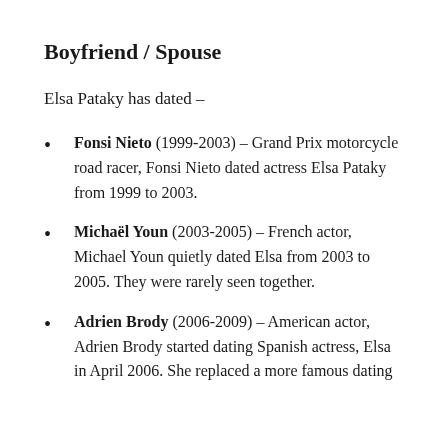Boyfriend / Spouse
Elsa Pataky has dated –
Fonsi Nieto (1999-2003) – Grand Prix motorcycle road racer, Fonsi Nieto dated actress Elsa Pataky from 1999 to 2003.
Michaël Youn (2003-2005) – French actor, Michael Youn quietly dated Elsa from 2003 to 2005. They were rarely seen together.
Adrien Brody (2006-2009) – American actor, Adrien Brody started dating Spanish actress, Elsa in April 2006. She replaced a more famous dating...